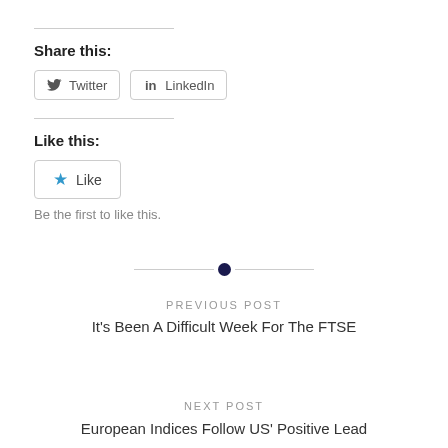Share this:
Twitter  LinkedIn
Like this:
Like
Be the first to like this.
PREVIOUS POST
It's Been A Difficult Week For The FTSE
NEXT POST
European Indices Follow US' Positive Lead